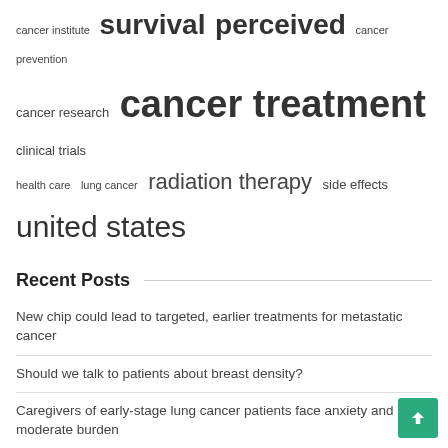cancer institute · survival · perceived · cancer prevention · cancer research · cancer treatment · clinical trials · health care · lung cancer · radiation therapy · side effects · united states
Recent Posts
New chip could lead to targeted, earlier treatments for metastatic cancer
Should we talk to patients about breast density?
Caregivers of early-stage lung cancer patients face anxiety and moderate burden
Biomarker linked to risk of diabetes and cancer death
Football-mad boy will receive specialist cancer treatment abroad